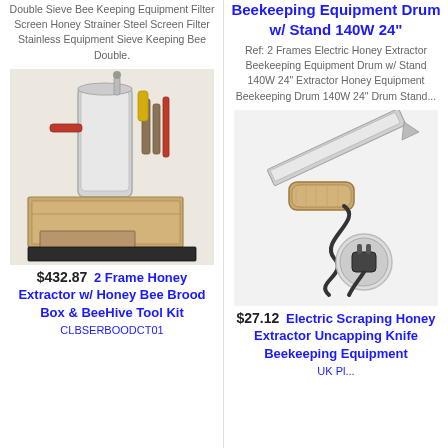Double Sieve Bee Keeping Equipment Filter Screen Honey Strainer Steel Screen Filter Stainless Equipment Sieve Keeping Bee Double.
Beekeeping Equipment Drum w/ Stand 140W 24"
Ref: 2 Frames Electric Honey Extractor Beekeeping Equipment Drum w/ Stand 140W 24" Extractor Honey Equipment Beekeeping Drum 140W 24" Drum Stand...
[Figure (photo): Beekeeping equipment set including a manual honey extractor drum, wooden hive boxes, and various beekeeping tools]
[Figure (photo): Electric uncapping knife/scraper with wooden handle and black cord with plug]
$432.87   2 Frame Honey Extractor w/ Honey Bee Brood Box & BeeHive Tool Kit
$27.12   Electric Scraping Honey Extractor Uncapping Knife Beekeeping Equipment
CLBSERBOODCT01
UK Pl...